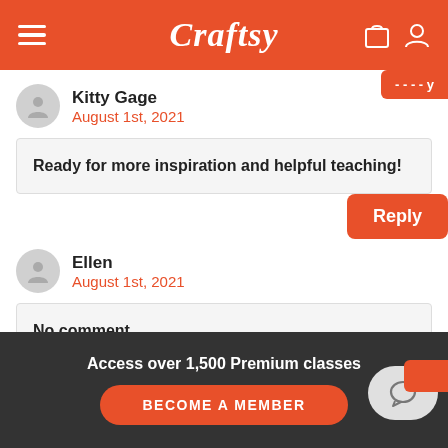Craftsy
Kitty Gage
August 1st, 2021
Ready for more inspiration and helpful teaching!
Reply
Ellen
August 1st, 2021
No comment.
Access over 1,500 Premium classes
BECOME A MEMBER